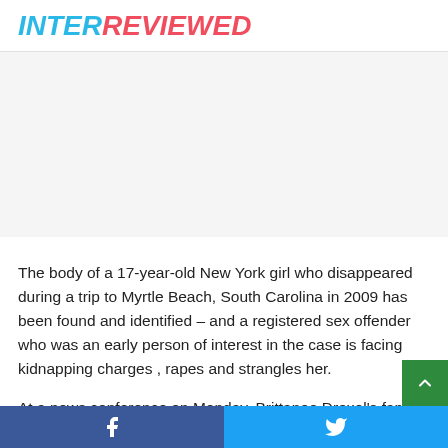INTERREVIEWED
[Figure (other): Advertisement/blank area placeholder]
The body of a 17-year-old New York girl who disappeared during a trip to Myrtle Beach, South Carolina in 2009 has been found and identified – and a registered sex offender who was an early person of interest in the case is facing kidnapping charges , rapes and strangles her.
At a news conference on Monday, Brittanee Drexel's family
Facebook share | Twitter share